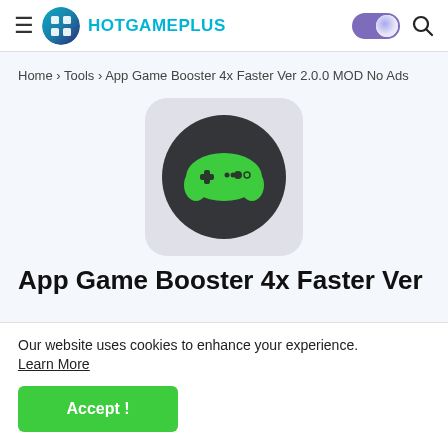≡ HOTGAMEPLUS [toggle] [search]
Home › Tools › App Game Booster 4x Faster Ver 2.0.0 MOD No Ads
[Figure (logo): App Game Booster icon: dark circle with green game controller on light gray rounded square background]
App Game Booster 4x Faster Ver
Our website uses cookies to enhance your experience.
Learn More
Accept !